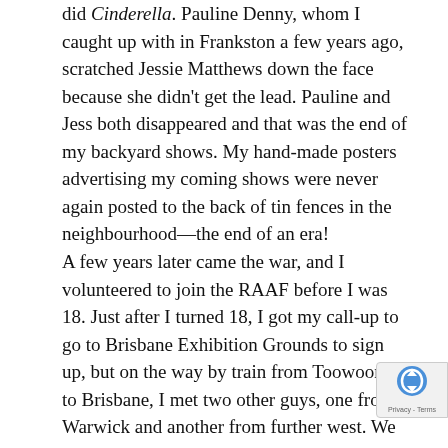did Cinderella. Pauline Denny, whom I caught up with in Frankston a few years ago, scratched Jessie Matthews down the face because she didn't get the lead. Pauline and Jess both disappeared and that was the end of my backyard shows. My hand-made posters advertising my coming shows were never again posted to the back of tin fences in the neighbourhood—the end of an era!
A few years later came the war, and I volunteered to join the RAAF before I was 18. Just after I turned 18, I got my call-up to go to Brisbane Exhibition Grounds to sign up, but on the way by train from Toowoomba to Brisbane, I met two other guys, one from Warwick and another from further west. We became good buddies and the next day when we had to sign up, I decided to join the Army with them stuck together for 18 months. We heard the inf was the hardest, so we joined the artillery. At least